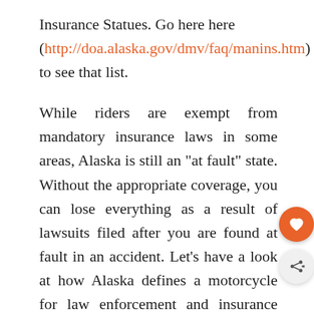Insurance Statues. Go here here (http://doa.alaska.gov/dmv/faq/manins.htm) to see that list.
While riders are exempt from mandatory insurance laws in some areas, Alaska is still an “at fault” state. Without the appropriate coverage, you can lose everything as a result of lawsuits filed after you are found at fault in an accident. Let's have a look at how Alaska defines a motorcycle for law enforcement and insurance purposes, some of the required equipment to make your bike street legal in the state, as well as the types of motorcycle coverage you may need.